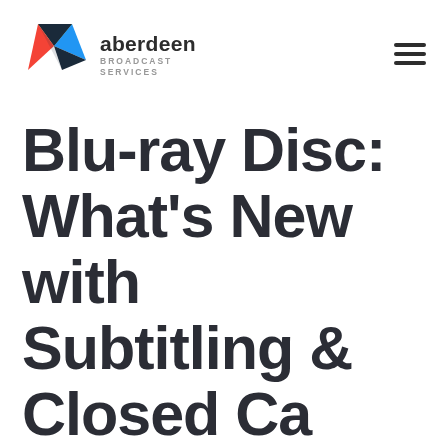[Figure (logo): Aberdeen Broadcast Services logo with colourful geometric arrow/triangle shapes and company name text]
Blu-ray Disc: What's New with Subtitling & Closed Captioning f…